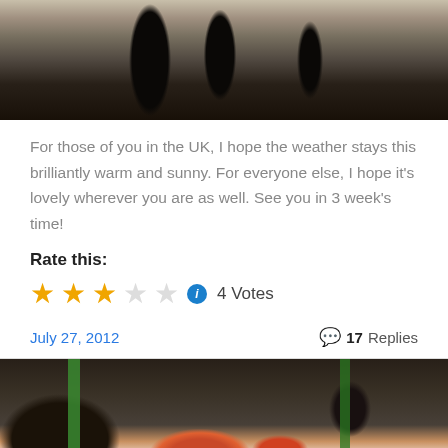[Figure (photo): Blurry black and white photo of silhouetted figures walking, appears to be an outdoor urban scene]
For those of you in the UK, I hope the weather stays this brilliantly warm and sunny. For everyone else, I hope it's lovely wherever you are as well. See you in 3 week's time!
Rate this:
[Figure (infographic): Star rating widget showing 3 out of 5 stars filled (gold), 2 empty stars, info icon, and '4 Votes' text]
July 27, 2012
17 Replies
[Figure (photo): Blurry colorful photo showing what appears to be food (pizza) with dark background and green accents]